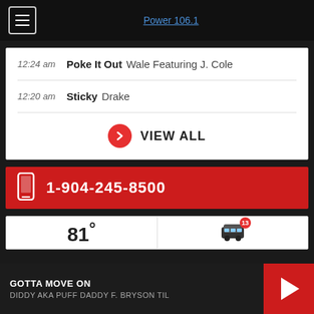Power 106.1
12:24 am  Poke It Out  Wale Featuring J. Cole
12:20 am  Sticky  Drake
VIEW ALL
1-904-245-8500
81°
GOTTA MOVE ON  DIDDY AKA PUFF DADDY F. BRYSON TIL